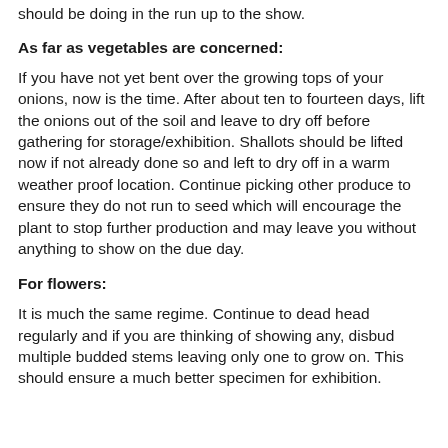should be doing in the run up to the show.
As far as vegetables are concerned:
If you have not yet bent over the growing tops of your onions, now is the time. After about ten to fourteen days, lift the onions out of the soil and leave to dry off before gathering for storage/exhibition. Shallots should be lifted now if not already done so and left to dry off in a warm weather proof location. Continue picking other produce to ensure they do not run to seed which will encourage the plant to stop further production and may leave you without anything to show on the due day.
For flowers:
It is much the same regime. Continue to dead head regularly and if you are thinking of showing any, disbud multiple budded stems leaving only one to grow on. This should ensure a much better specimen for exhibition.